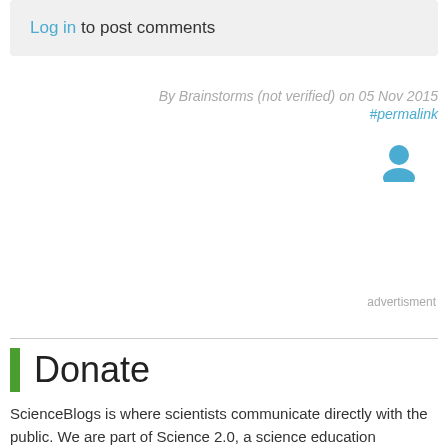Log in to post comments
By Brainstorms (not verified) on 05 Nov 2015 #permalink
[Figure (illustration): User avatar icon in blue]
advertisment
Donate
ScienceBlogs is where scientists communicate directly with the public. We are part of Science 2.0, a science education nonprofit operating under Section 501(c)(3) of the Internal Revenue Code. Please make a tax-deductible donation if you value independent